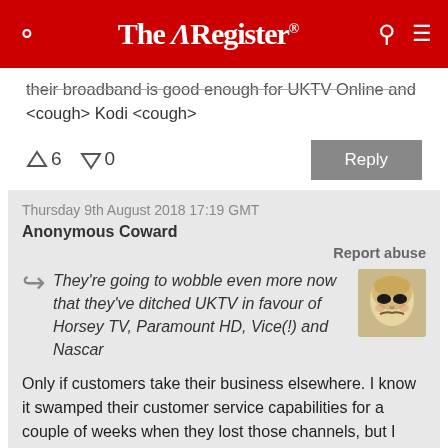The Register
their broadband is good enough for UKTV Online and <cough> Kodi <cough>
↑6  ↓0
Thursday 9th August 2018 17:19 GMT
Anonymous Coward
Report abuse
They're going to wobble even more now that they've ditched UKTV in favour of Horsey TV, Paramount HD, Vice(!) and Nascar
Only if customers take their business elsewhere. I know it swamped their customer service capabilities for a couple of weeks when they lost those channels, but I expect that despite the extensive anger, relatively few will actually leave. A greater cause for customer losses may be when us unlucky punters are stuffed with this year's inflation busting price hike.